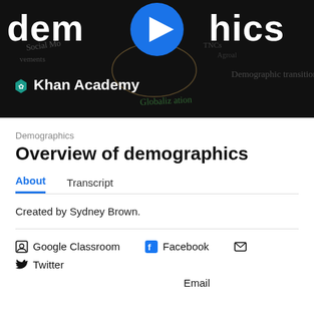[Figure (screenshot): Khan Academy video thumbnail with dark background showing handwritten notes about demographics, demographic transition, social movements, globalization. Large bold white text reads 'demographics' across the top. A blue play button circle is centered. Khan Academy logo (green hexagon with person icon) and 'Khan Academy' text appear at bottom left.]
Demographics
Overview of demographics
About	Transcript
Created by Sydney Brown.
Google Classroom  Facebook  Email  Twitter